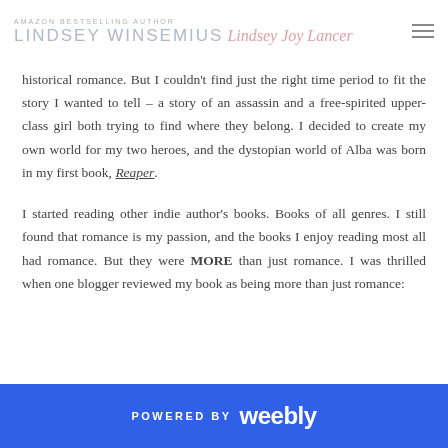AMAZON BESTSELLING AUTHOR LINDSEY WINSEMIUS Lindsey Joy Lansер
historical romance. But I couldn't find just the right time period to fit the story I wanted to tell – a story of an assassin and a free-spirited upper-class girl both trying to find where they belong. I decided to create my own world for my two heroes, and the dystopian world of Alba was born in my first book, Reaper.
I started reading other indie author's books. Books of all genres. I still found that romance is my passion, and the books I enjoy reading most all had romance. But they were MORE than just romance. I was thrilled when one blogger reviewed my book as being more than just romance:
POWERED BY weebly